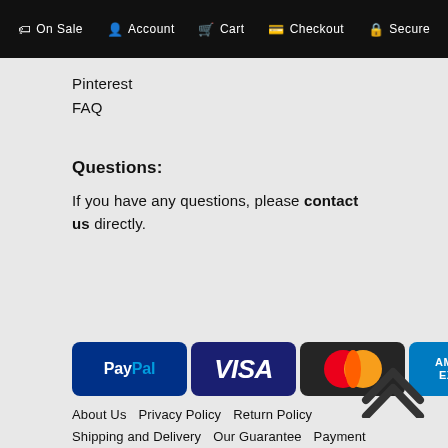On Sale  Account  Cart  Checkout  Secure
Pinterest
FAQ
Questions:
If you have any questions, please contact us directly.
[Figure (logo): Payment method logos: PayPal, VISA, Mastercard, American Express]
[Figure (other): Scroll to top double chevron arrow icon]
About Us  Privacy Policy  Return Policy  Shipping and Delivery  Our Guarantee  Payment  Contact Us  Site Map  Login